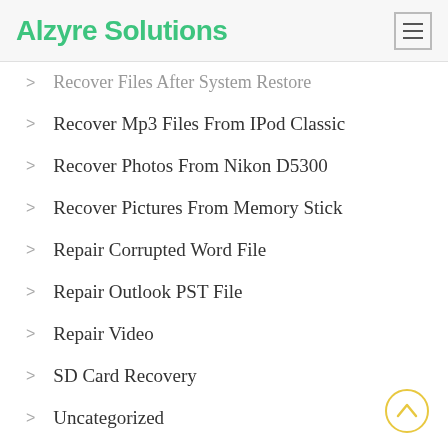Alzyre Solutions
Recover Files After System Restore
Recover Mp3 Files From IPod Classic
Recover Photos From Nikon D5300
Recover Pictures From Memory Stick
Repair Corrupted Word File
Repair Outlook PST File
Repair Video
SD Card Recovery
Uncategorized
Unformat Drive